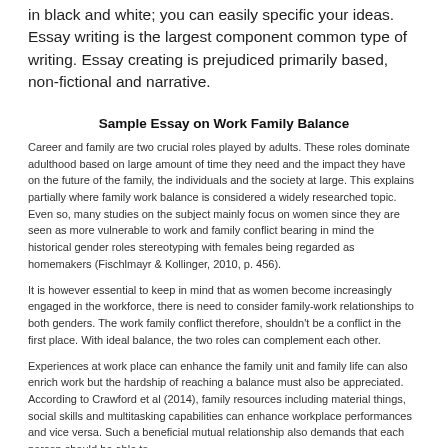in black and white; you can easily specific your ideas. Essay writing is the largest component common type of writing. Essay creating is prejudiced primarily based, non-fictional and narrative.
Sample Essay on Work Family Balance
Career and family are two crucial roles played by adults. These roles dominate adulthood based on large amount of time they need and the impact they have on the future of the family, the individuals and the society at large. This explains partially where family work balance is considered a widely researched topic. Even so, many studies on the subject mainly focus on women since they are seen as more vulnerable to work and family conflict bearing in mind the historical gender roles stereotyping with females being regarded as homemakers (Fischlmayr & Kollinger, 2010, p. 456).
It is however essential to keep in mind that as women become increasingly engaged in the workforce, there is need to consider family-work relationships to both genders. The work family conflict therefore, shouldn't be a conflict in the first place. With ideal balance, the two roles can complement each other.
Experiences at work place can enhance the family unit and family life can also enrich work but the hardship of reaching a balance must also be appreciated. According to Crawford et al (2014), family resources including material things, social skills and multitasking capabilities can enhance workplace performances and vice versa. Such a beneficial mutual relationship also demands that each person should be able to